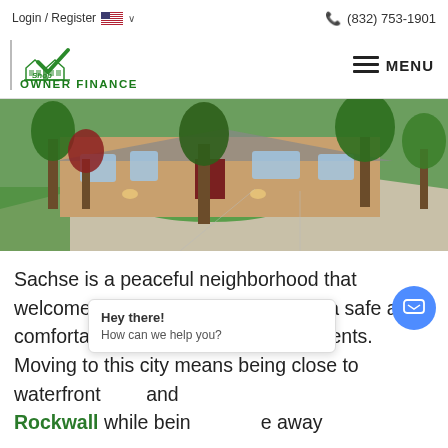Login / Register   🇺🇸 ∨   📞 (832) 753-1901
[Figure (logo): Shop Owner Finance logo — green house icons with checkmark and green text reading Shop OWNER FINANCE]
[Figure (photo): Exterior photo of a large brick house with a wide concrete driveway, green lawn, and trees surrounded by lush landscaping]
Sachse is a peaceful neighborhood that welcomes the future while providing a safe and comfortable quality of life for its residents. Moving to this city means being close to waterfront [partially obscured] and Rockwall while being [partially obscured] away
Hey there!
How can we help you?